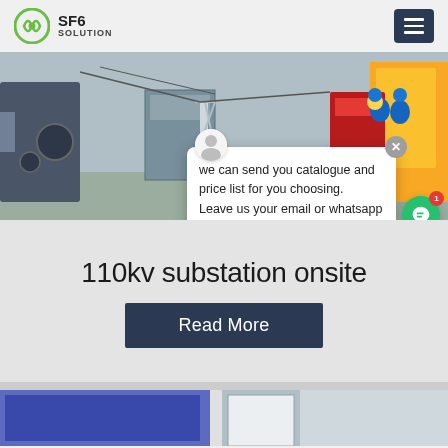SF6 SOLUTION
[Figure (photo): Outdoor electrical substation with transformers and high-voltage equipment, workers in blue hard hats visible on the right]
we can send you catalogue and price list for you choosing. Leave us your email or whatsapp .
SF6 Expert    Just now
Write a
110kv substation onsite
Read More
[Figure (photo): Bottom strip showing a building exterior with blue panels]